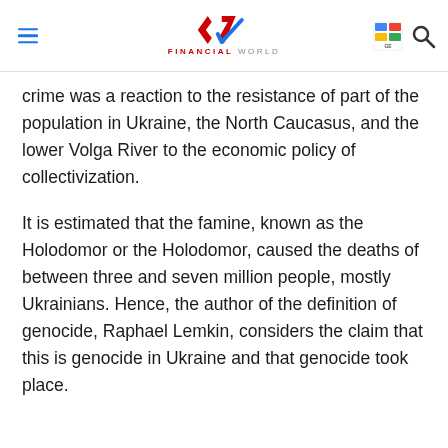Financial World
crime was a reaction to the resistance of part of the population in Ukraine, the North Caucasus, and the lower Volga River to the economic policy of collectivization.
It is estimated that the famine, known as the Holodomor or the Holodomor, caused the deaths of between three and seven million people, mostly Ukrainians. Hence, the author of the definition of genocide, Raphael Lemkin, considers the claim that this is genocide in Ukraine and that genocide took place.